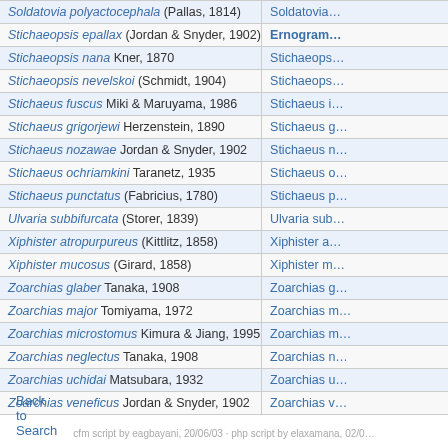| Scientific Name | Current Name |
| --- | --- |
| Soldatovia polyactocephala (Pallas, 1814) | Soldatovia… |
| Stichaeopsis epallax (Jordan & Snyder, 1902) | Ernogram… |
| Stichaeopsis nana Kner, 1870 | Stichaeops… |
| Stichaeopsis nevelskoi (Schmidt, 1904) | Stichaeops… |
| Stichaeus fuscus Miki & Maruyama, 1986 | Stichaeus i… |
| Stichaeus grigorjewi Herzenstein, 1890 | Stichaeus g… |
| Stichaeus nozawae Jordan & Snyder, 1902 | Stichaeus n… |
| Stichaeus ochriamkini Taranetz, 1935 | Stichaeus o… |
| Stichaeus punctatus (Fabricius, 1780) | Stichaeus p… |
| Ulvaria subbifurcata (Storer, 1839) | Ulvaria sub… |
| Xiphister atropurpureus (Kittlitz, 1858) | Xiphister a… |
| Xiphister mucosus (Girard, 1858) | Xiphister m… |
| Zoarchias glaber Tanaka, 1908 | Zoarchias g… |
| Zoarchias major Tomiyama, 1972 | Zoarchias m… |
| Zoarchias microstomus Kimura & Jiang, 1995 | Zoarchias m… |
| Zoarchias neglectus Tanaka, 1908 | Zoarchias n… |
| Zoarchias uchidai Matsubara, 1932 | Zoarchias u… |
| Zoarchias veneficus Jordan & Snyder, 1902 | Zoarchias v… |
Back to Search
cfm script by eagbayani, 20/06/03 · php script by elaxamana, 02/0…